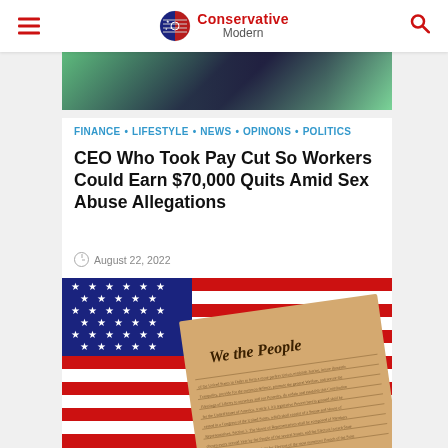Conservative Modern
[Figure (photo): Partial top image strip showing a scene with green and dark tones]
FINANCE • LIFESTYLE • NEWS • OPINONS • POLITICS
CEO Who Took Pay Cut So Workers Could Earn $70,000 Quits Amid Sex Abuse Allegations
August 22, 2022
[Figure (photo): American flag with the US Constitution document (We the People) laid on top of it]